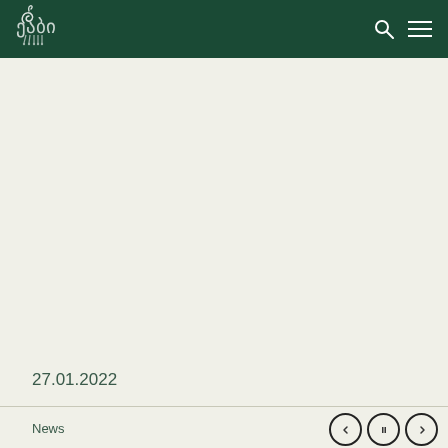ეროვნული ბანკი (National Bank of Georgia) logo with search and menu icons
27.01.2022
News